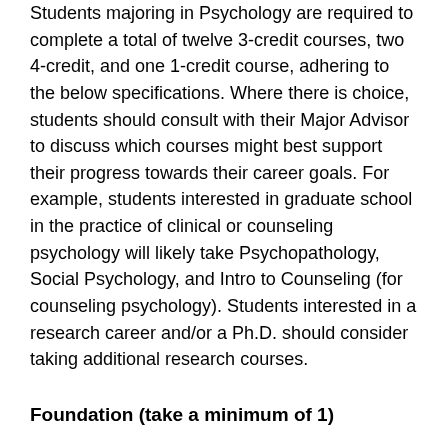Students majoring in Psychology are required to complete a total of twelve 3-credit courses, two 4-credit, and one 1-credit course, adhering to the below specifications. Where there is choice, students should consult with their Major Advisor to discuss which courses might best support their progress towards their career goals. For example, students interested in graduate school in the practice of clinical or counseling psychology will likely take Psychopathology, Social Psychology, and Intro to Counseling (for counseling psychology). Students interested in a research career and/or a Ph.D. should consider taking additional research courses.
Foundation (take a minimum of 1)
PY 101: Introductory Psychology is required of every major. Other 100-level courses (if offered) can count as